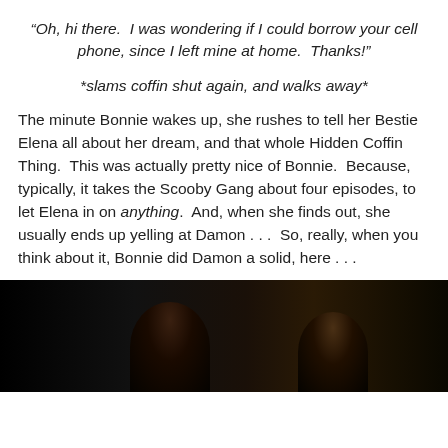“Oh, hi there.  I was wondering if I could borrow your cell phone, since I left mine at home.  Thanks!"
*slams coffin shut again, and walks away*
The minute Bonnie wakes up, she rushes to tell her Bestie Elena all about her dream, and that whole Hidden Coffin Thing.  This was actually pretty nice of Bonnie.  Because, typically, it takes the Scooby Gang about four episodes, to let Elena in on anything.  And, when she finds out, she usually ends up yelling at Damon . . .  So, really, when you think about it, Bonnie did Damon a solid, here . . .
[Figure (photo): Dark scene showing two silhouetted figures against a very dark background, appearing to be a still from a TV show.]